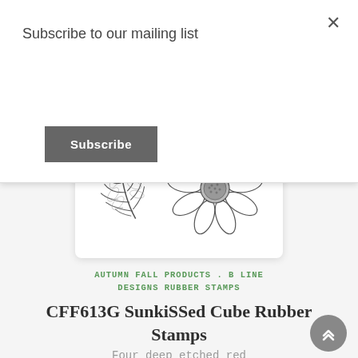Subscribe to our mailing list
Subscribe
[Figure (illustration): Rubber stamp illustrations showing a detailed fern leaf sprig on the left and a daisy/sunflower on the right, rendered in black and white sketch style on a white rounded card.]
AUTUMN FALL PRODUCTS . B LINE DESIGNS RUBBER STAMPS
CFF613G SunkiSSed Cube Rubber Stamps
Four deep etched red rubber stamps that measure about 5.75 x .75 inches.